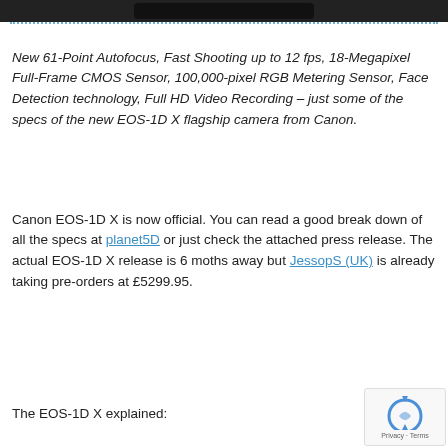[Figure (photo): Partial black top portion of a camera or device image cropped at top of page]
New 61-Point Autofocus, Fast Shooting up to 12 fps, 18-Megapixel Full-Frame CMOS Sensor, 100,000-pixel RGB Metering Sensor, Face Detection technology, Full HD Video Recording – just some of the specs of the new EOS-1D X flagship camera from Canon.
Canon EOS-1D X is now official. You can read a good break down of all the specs at planet5D or just check the attached press release. The actual EOS-1D X release is 6 moths away but JessopS (UK) is already taking pre-orders at £5299.95.
The EOS-1D X explained:
[Figure (other): reCAPTCHA widget with circular arrow icon and Privacy · Terms text]